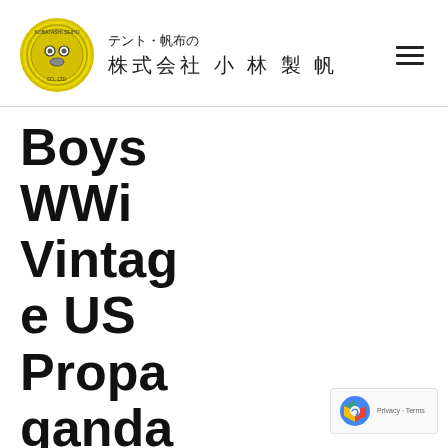テント・帆布の 株式会社 小 林 製 帆
Boys WWi Vintage US Propaganda Poster
Buy
KXYLOI